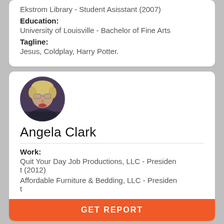Ekstrom Library - Student Asisstant (2007)
Education:
University of Louisville - Bachelor of Fine Arts
Tagline:
Jesus, Coldplay, Harry Potter.
[Figure (photo): Circular profile photo of Angela Clark, a woman with blonde hair and glasses]
Angela Clark
Work:
Quit Your Day Job Productions, LLC - President (2012)
Affordable Furniture & Bedding, LLC - President
GET REPORT